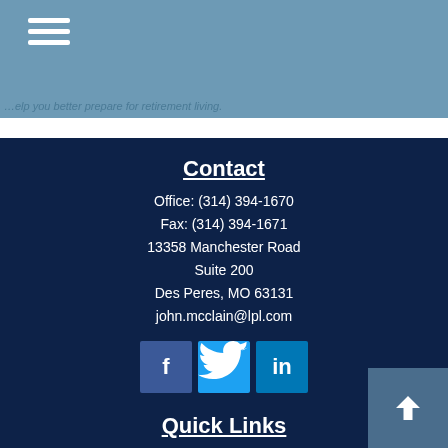help you better prepare for retirement living.
Contact
Office: (314) 394-1670
Fax: (314) 394-1671
13358 Manchester Road
Suite 200
Des Peres, MO 63131
john.mcclain@lpl.com
[Figure (other): Social media icons: Facebook, Twitter, LinkedIn]
Quick Links
Retirement
Investment
Estate